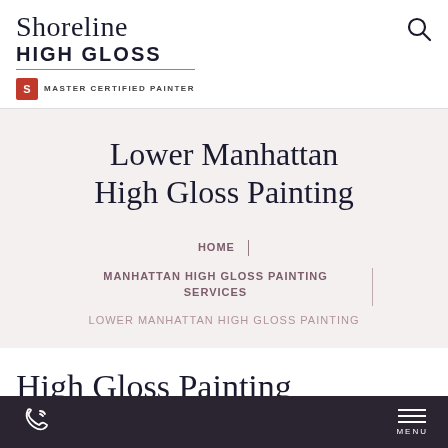Shoreline HIGH GLOSS — MASTER CERTIFIED PAINTER
Lower Manhattan High Gloss Painting
HOME | MANHATTAN HIGH GLOSS PAINTING SERVICES | LOWER MANHATTAN HIGH GLOSS PAINTING
High Gloss Painting
MENU